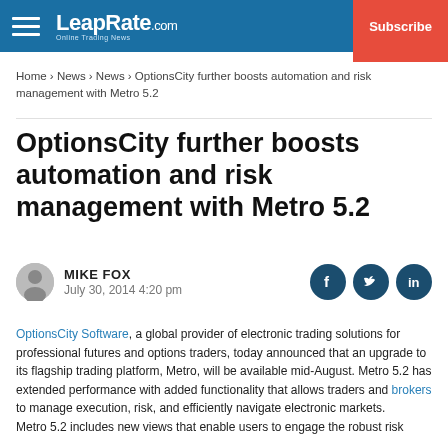LeapRate.com | Subscribe
Home › News › News › OptionsCity further boosts automation and risk management with Metro 5.2
OptionsCity further boosts automation and risk management with Metro 5.2
MIKE FOX
July 30, 2014 4:20 pm
OptionsCity Software, a global provider of electronic trading solutions for professional futures and options traders, today announced that an upgrade to its flagship trading platform, Metro, will be available mid-August. Metro 5.2 has extended performance with added functionality that allows traders and brokers to manage execution, risk, and efficiently navigate electronic markets.
Metro 5.2 includes new views that enable users to engage the robust risk